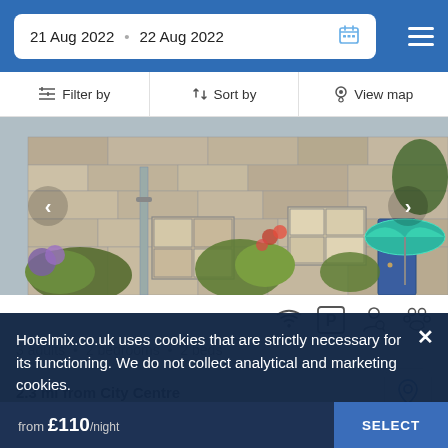21 Aug 2022  22 Aug 2022
Filter by  |  Sort by  |  View map
[Figure (photo): Stone cottage exterior with garden, flowers, green umbrella, and blue front door]
3 adults • 2 bedrooms • 2 beds
2.3 mi from City Centre
Featuring a garden and 2 bedrooms, the property is set close to Throuham Court Gardens
Hotelmix.co.uk uses cookies that are strictly necessary for its functioning. We do not collect analytical and marketing cookies.
from £110/night
SELECT